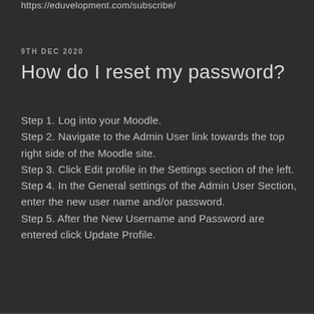https://eduvelopment.com/subscribe/
9TH DEC 2020
How do I reset my password?
Step 1. Log into your Moodle.
Step 2. Navigate to the Admin User link towards the top right side of the Moodle site.
Step 3. Click Edit profile in the Settings section of the left.
Step 4. In the General settings of the Admin User Section, enter the new user name and/or password.
Step 5. After the New Username and Password are entered click Update Profile.